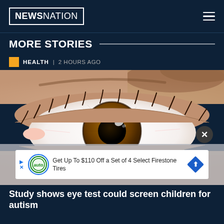NEWSNATION
MORE STORIES
HEALTH | 2 HOURS AGO
[Figure (photo): Close-up photograph of a child's brown eye, showing the iris, pupil, and surrounding skin in detail. The image is used to illustrate a health story about eye testing for autism screening.]
Get Up To $110 Off a Set of 4 Select Firestone Tires
Study shows eye test could screen children for autism